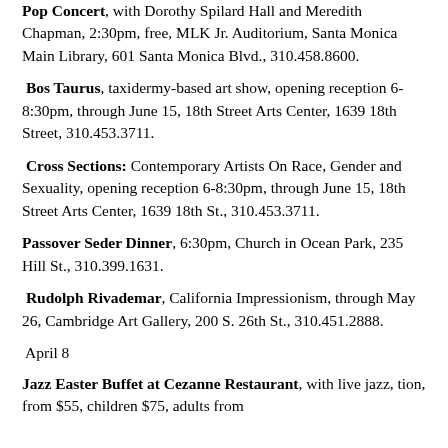Pop Concert, with Dorothy Spilard Hall and Meredith Chapman, 2:30pm, free, MLK Jr. Auditorium, Santa Monica Main Library, 601 Santa Monica Blvd., 310.458.8600.
Bos Taurus, taxidermy-based art show, opening reception 6-8:30pm, through June 15, 18th Street Arts Center, 1639 18th Street, 310.453.3711.
Cross Sections: Contemporary Artists On Race, Gender and Sexuality, opening reception 6-8:30pm, through June 15, 18th Street Arts Center, 1639 18th St., 310.453.3711.
Passover Seder Dinner, 6:30pm, Church in Ocean Park, 235 Hill St., 310.399.1631.
Rudolph Rivademar, California Impressionism, through May 26, Cambridge Art Gallery, 200 S. 26th St., 310.451.2888.
April 8
Jazz Easter Buffet at Cezanne Restaurant, with live jazz, tion, from $55, children $75, adults from...